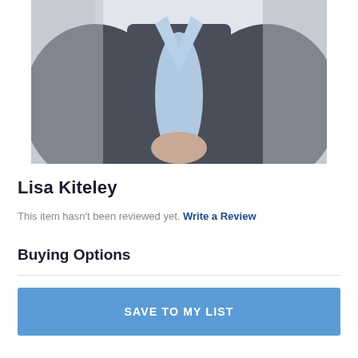[Figure (photo): Professional headshot of a person wearing a dark grey blazer over a light blue button-up shirt, with hands clasped, seated in a bright environment.]
Lisa Kiteley
This item hasn't been reviewed yet. Write a Review
Buying Options
SAVE TO MY LIST